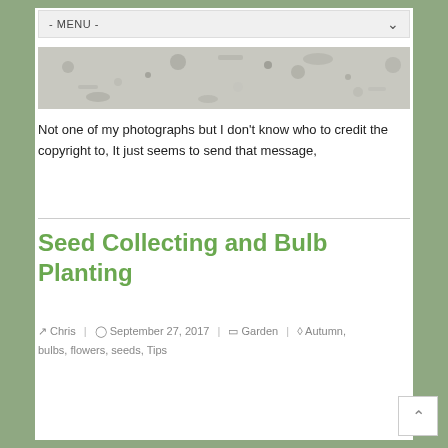- MENU -
[Figure (photo): Close-up textured photo of soil or gravel surface, gray tones]
Not one of my photographs but I don't know who to credit the copyright to, It  just seems to send that message,
Seed Collecting and Bulb Planting
Chris | September 27, 2017 | Garden | Autumn, bulbs, flowers, seeds, Tips